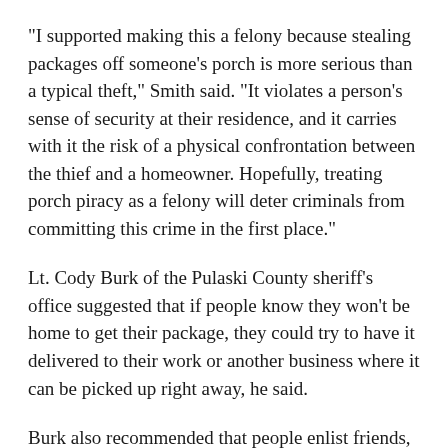"I supported making this a felony because stealing packages off someone's porch is more serious than a typical theft," Smith said. "It violates a person's sense of security at their residence, and it carries with it the risk of a physical confrontation between the thief and a homeowner. Hopefully, treating porch piracy as a felony will deter criminals from committing this crime in the first place."
Lt. Cody Burk of the Pulaski County sheriff's office suggested that if people know they won't be home to get their package, they could try to have it delivered to their work or another business where it can be picked up right away, he said.
Burk also recommended that people enlist friends, family and neighbors to help keep packages from sitting vulnerable on porches.
Murphy recommended people schedule delivery times and